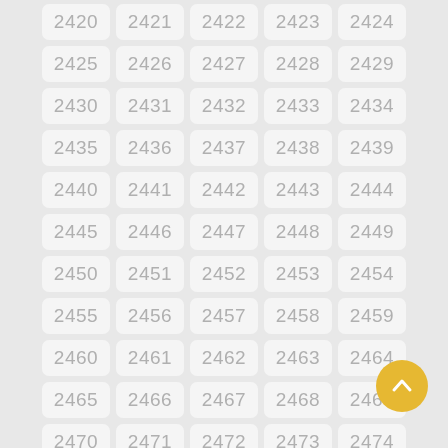[Figure (other): Grid of numbered cells from 2420 to 2474, arranged in rows of 5, with a yellow circular back-to-top button in the bottom right corner.]